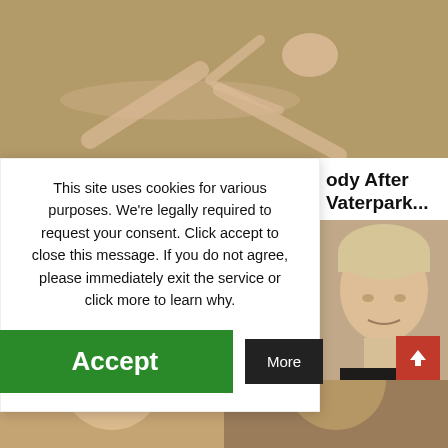[Figure (photo): Photo of a person lying on a sandy/concrete floor, seen from above]
This site uses cookies for various purposes. We're legally required to request your consent. Click accept to close this message. If you do not agree, please immediately exit the service or click more to learn why.
Accept
More
ody After Vaterpark...
[Figure (photo): Close-up photo of an older man with light blonde/white hair]
[Figure (photo): Partial bottom images of two people, cropped]
[Figure (other): Scroll-to-top red button with up arrow]